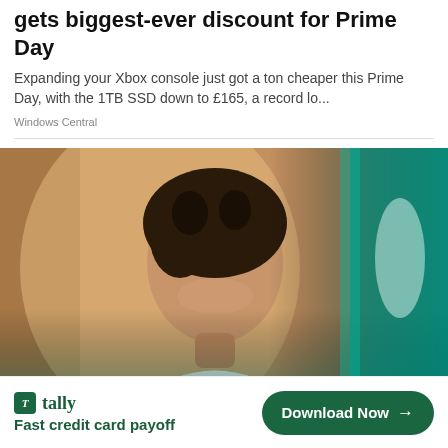gets biggest-ever discount for Prime Day
Expanding your Xbox console just got a ton cheaper this Prime Day, with the 1TB SSD down to £165, a record lo...
Windows Central
[Figure (photo): Portrait photo of a smiling woman with curly dark hair, wearing a white top, photographed against a blurred background with teal/green tones on the right side.]
tally — Fast credit card payoff — Download Now